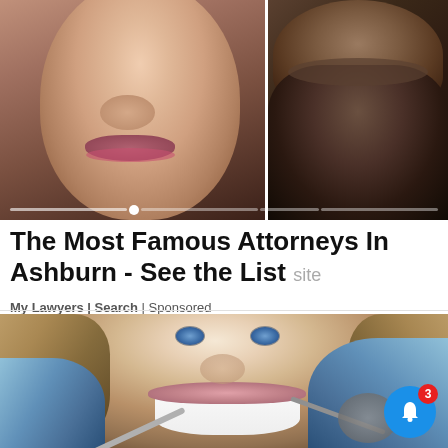[Figure (photo): Two faces side by side: left side shows a woman's face (lower half), right side shows a bearded man's face (lower half), with a carousel progress bar at the bottom]
The Most Famous Attorneys In Ashburn - See the List site
My Lawyers | Search | Sponsored
[Figure (photo): A smiling young woman with blue eyes at a dental appointment, with blue-gloved hands holding dental instruments near her mouth, and a notification bell button in the lower right corner with badge showing 3]